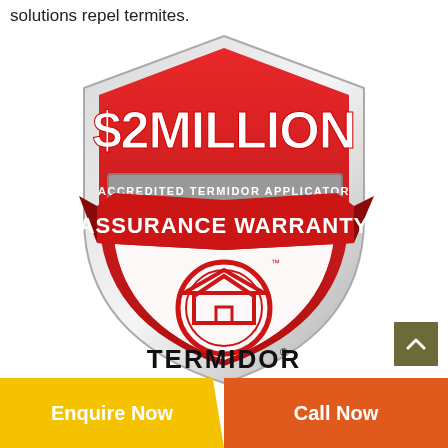solutions repel termites.
[Figure (logo): Termidor $2 Million Accredited Termidor Applicator Assurance Warranty badge/shield logo with house icon and Termidor brand name]
Enquire Now
Call Now